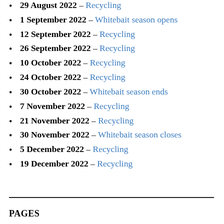29 August 2022 – Recycling
1 September 2022 – Whitebait season opens
12 September 2022 – Recycling
26 September 2022 – Recycling
10 October 2022 – Recycling
24 October 2022 – Recycling
30 October 2022 – Whitebait season ends
7 November 2022 – Recycling
21 November 2022 – Recycling
30 November 2022 – Whitebait season closes
5 December 2022 – Recycling
19 December 2022 – Recycling
PAGES